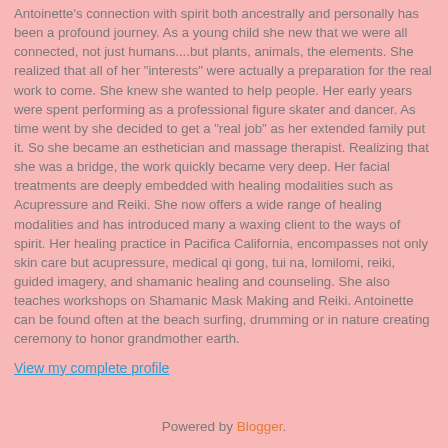Antoinette's connection with spirit both ancestrally and personally has been a profound journey. As a young child she new that we were all connected, not just humans....but plants, animals, the elements. She realized that all of her "interests" were actually a preparation for the real work to come. She knew she wanted to help people. Her early years were spent performing as a professional figure skater and dancer. As time went by she decided to get a "real job" as her extended family put it. So she became an esthetician and massage therapist. Realizing that she was a bridge, the work quickly became very deep. Her facial treatments are deeply embedded with healing modalities such as Acupressure and Reiki. She now offers a wide range of healing modalities and has introduced many a waxing client to the ways of spirit. Her healing practice in Pacifica California, encompasses not only skin care but acupressure, medical qi gong, tui na, lomilomi, reiki, guided imagery, and shamanic healing and counseling. She also teaches workshops on Shamanic Mask Making and Reiki. Antoinette can be found often at the beach surfing, drumming or in nature creating ceremony to honor grandmother earth.
View my complete profile
Powered by Blogger.